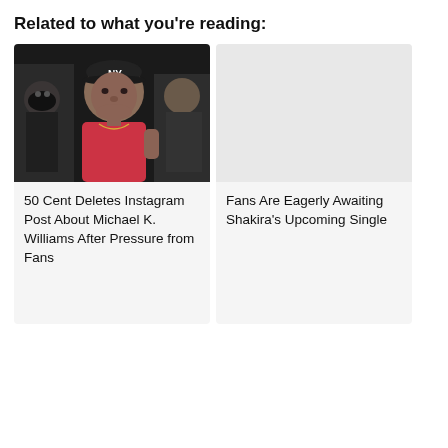Related to what you're reading:
[Figure (photo): Photo of 50 Cent wearing a NY Yankees cap and pink shirt, with another person in a black mask visible behind him]
50 Cent Deletes Instagram Post About Michael K. Williams After Pressure from Fans
Fans Are Eagerly Awaiting Shakira's Upcoming Single